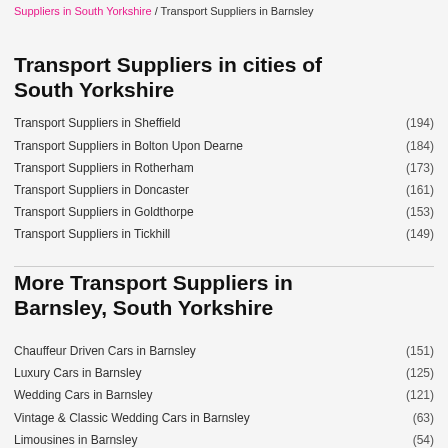Suppliers in South Yorkshire / Transport Suppliers in Barnsley
Transport Suppliers in cities of South Yorkshire
Transport Suppliers in Sheffield (194)
Transport Suppliers in Bolton Upon Dearne (184)
Transport Suppliers in Rotherham (173)
Transport Suppliers in Doncaster (161)
Transport Suppliers in Goldthorpe (153)
Transport Suppliers in Tickhill (149)
More Transport Suppliers in Barnsley, South Yorkshire
Chauffeur Driven Cars in Barnsley (151)
Luxury Cars in Barnsley (125)
Wedding Cars in Barnsley (121)
Vintage & Classic Wedding Cars in Barnsley (63)
Limousines in Barnsley (54)